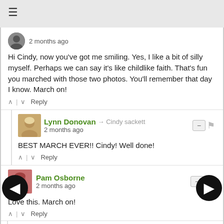≡
2 months ago
Hi Cindy, now you've got me smiling. Yes, I like a bit of silly myself. Perhaps we can say it's like childlike faith. That's fun you marched with those two photos. You'll remember that day I know. March on!
^ | ∨  Reply
Lynn Donovan → Cindy sackett
2 months ago
BEST MARCH EVER!! Cindy! Well done!
^ | ∨  Reply
Pam Osborne
2 months ago
Love this. March on!
^ | ∨  Reply
Ann → Pam Osborne
2 months ago